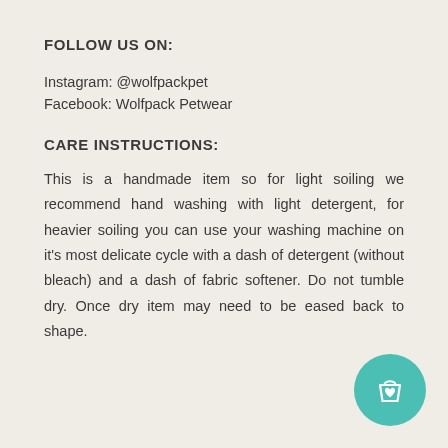FOLLOW US ON:
Instagram: @wolfpackpet
Facebook: Wolfpack Petwear
CARE INSTRUCTIONS:
This is a handmade item so for light soiling we recommend hand washing with light detergent, for heavier soiling you can use your washing machine on it's most delicate cycle with a dash of detergent (without bleach) and a dash of fabric softener. Do not tumble dry. Once dry item may need to be eased back to shape.
[Figure (illustration): Teal circular button with a shopping bag and heart icon]